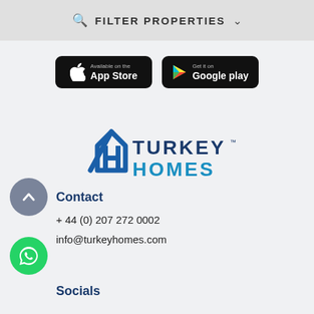FILTER PROPERTIES
[Figure (screenshot): App Store download button (black rounded rectangle) with Apple logo icon and text 'Available on the App Store']
[Figure (screenshot): Google Play download button (black rounded rectangle) with Play triangle icon and text 'Get it on Google play']
[Figure (logo): Turkey Homes logo with stylized TH house icon and text TURKEY HOMES in dark blue]
Contact
+ 44 (0) 207 272 0002
info@turkeyhomes.com
Socials